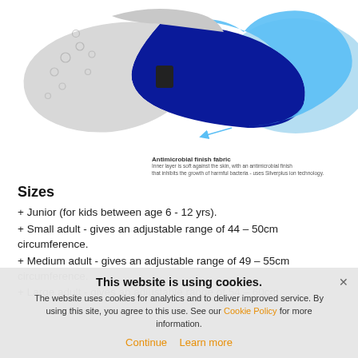[Figure (engineering-diagram): Cross-section diagram of a face mask showing layered materials including an antimicrobial finish fabric inner layer with water droplets/beads illustrated bouncing off, and blue filter layers visible in the construction.]
Antimicrobial finish fabric
Inner layer is soft against the skin, with an antimicrobial finish that inhibits the growth of harmful bacteria - uses Silverplus ion technology.
Sizes
+ Junior (for kids between age 6 - 12 yrs).
+ Small adult - gives an adjustable range of 44 – 50cm circumference.
+ Medium adult - gives an adjustable range of 49 – 55cm circumference.
+ Large adult - gives an adjustable range of 54 – 60cm
This website is using cookies.
The website uses cookies for analytics and to deliver improved service. By using this site, you agree to this use. See our Cookie Policy for more information.
Continue    Learn more